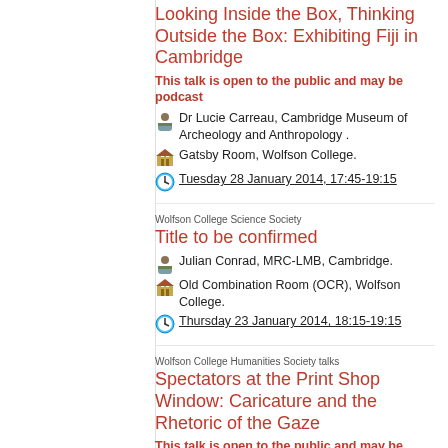Looking Inside the Box, Thinking Outside the Box: Exhibiting Fiji in Cambridge
This talk is open to the public and may be podcast
Dr Lucie Carreau, Cambridge Museum of Archeology and Anthropology .
Gatsby Room, Wolfson College.
Tuesday 28 January 2014, 17:45-19:15
Wolfson College Science Society
Title to be confirmed
Julian Conrad, MRC-LMB, Cambridge.
Old Combination Room (OCR), Wolfson College.
Thursday 23 January 2014, 18:15-19:15
Wolfson College Humanities Society talks
Spectators at the Print Shop Window: Caricature and the Rhetoric of the Gaze
This talk is open to the public and may be podcast
Dr David Taylor, Toronto University & Visiting Fellow CRASSH.
Gatsby Room, Wolfson College.
Tuesday 21 January 2014, 17:45-19:15